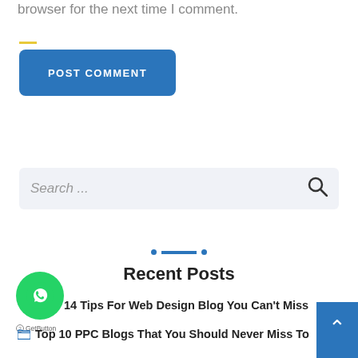browser for the next time I comment.
POST COMMENT
Search ...
Recent Posts
14 Tips For Web Design Blog You Can't Miss
Top 10 PPC Blogs That You Should Never Miss To